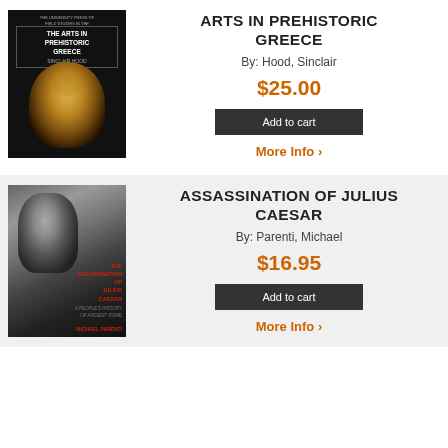[Figure (photo): Book cover of 'The Arts in Prehistoric Greece' by Sinclair Hood, showing a golden Mycenaean death mask on black background]
ARTS IN PREHISTORIC GREECE
By: Hood, Sinclair
$25.00
Add to cart
More Info
[Figure (photo): Book cover of 'The Assassination of Julius Caesar' by Michael Parenti, showing a black and white Roman bust sculpture]
ASSASSINATION OF JULIUS CAESAR
By: Parenti, Michael
$16.95
Add to cart
More Info